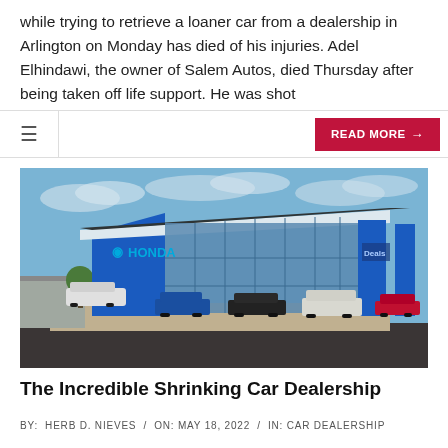while trying to retrieve a loaner car from a dealership in Arlington on Monday has died of his injuries. Adel Elhindawi, the owner of Salem Autos, died Thursday after being taken off life support. He was shot
READ MORE →
[Figure (photo): Exterior rendering of a modern Honda car dealership with blue facade, large glass windows, Honda logo on building, and several cars displayed in front including white SUV, blue SUV, black sedan, white minivan, and red car. Blue sky with clouds in background.]
The Incredible Shrinking Car Dealership
BY: HERB D. NIEVES / ON: MAY 18, 2022 / IN: CAR DEALERSHIP